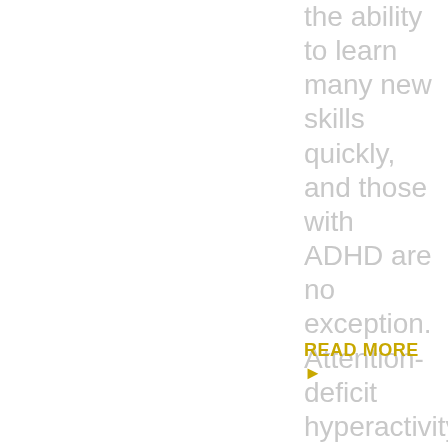the ability to learn many new skills quickly, and those with ADHD are no exception. Attention-deficit hyperactivity...
READ MORE ▶